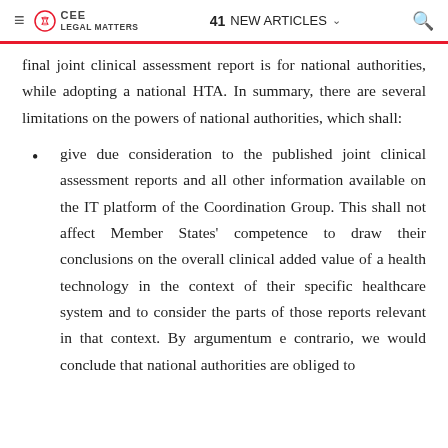≡  CEE LEGAL MATTERS  |  41 NEW ARTICLES  🔍
final joint clinical assessment report is for national authorities, while adopting a national HTA. In summary, there are several limitations on the powers of national authorities, which shall:
give due consideration to the published joint clinical assessment reports and all other information available on the IT platform of the Coordination Group. This shall not affect Member States' competence to draw their conclusions on the overall clinical added value of a health technology in the context of their specific healthcare system and to consider the parts of those reports relevant in that context. By argumentum e contrario, we would conclude that national authorities are obliged to